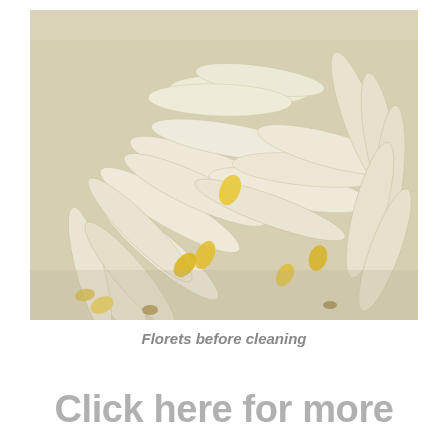[Figure (photo): Close-up photograph of chicory florets before cleaning — pale white and cream colored elongated leaf-like florets with yellow bases, piled together on a light surface.]
Florets before cleaning
Click here for more